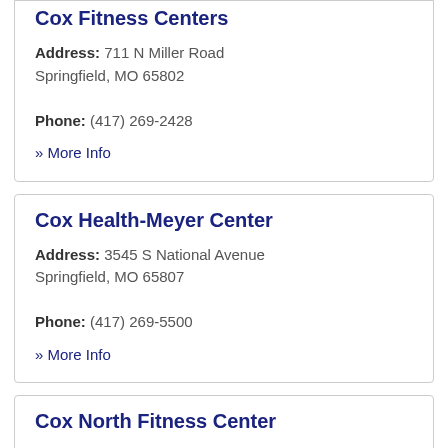Cox Fitness Centers
Address: 711 N Miller Road Springfield, MO 65802
Phone: (417) 269-2428
» More Info
Cox Health-Meyer Center
Address: 3545 S National Avenue Springfield, MO 65807
Phone: (417) 269-5500
» More Info
Cox North Fitness Center
Address: 1423 N Jefferson Avenue